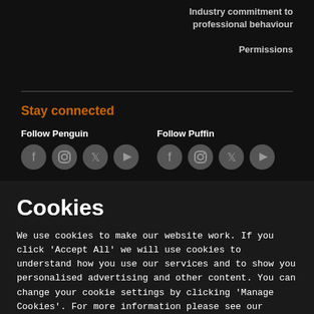Industry commitment to professional behaviour
Permissions
Stay connected
Follow Penguin
[Figure (other): Social media icons for Penguin: Facebook, Instagram, Twitter, YouTube]
Follow Puffin
[Figure (other): Social media icons for Puffin: Facebook, Instagram, Twitter, YouTube]
Cookies
We use cookies to make our website work. If you click 'Accept All' we will use cookies to understand how you use our services and to show you personalised advertising and other content. You can change your cookie settings by clicking 'Manage Cookies'. For more information please see our cookie policy
MANAGE COOKIE SETTINGS
ACCEPT ALL COOKIES